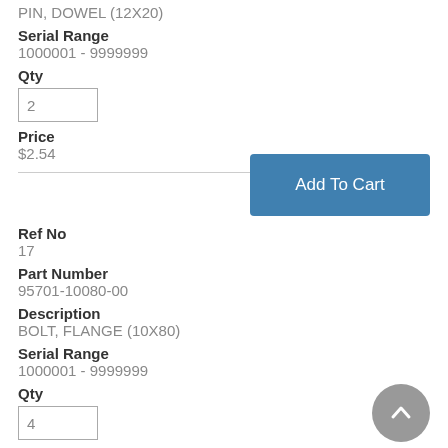PIN, DOWEL (12X20)
Serial Range
1000001 - 9999999
Qty
2
Price
$2.54
Ref No
17
Part Number
95701-10080-00
Description
BOLT, FLANGE (10X80)
Serial Range
1000001 - 9999999
Qty
4
Price